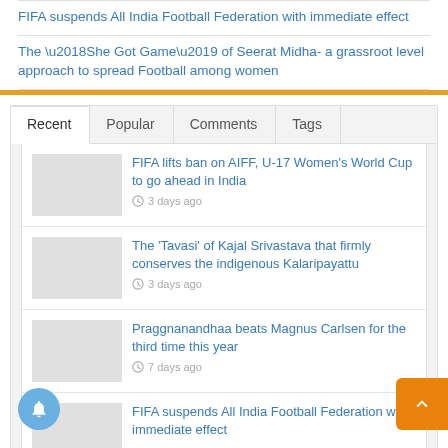FIFA suspends All India Football Federation with immediate effect
The ‘She Got Game’ of Seerat Midha- a grassroot level approach to spread Football among women
Recent  Popular  Comments  Tags
FIFA lifts ban on AIFF, U-17 Women’s World Cup to go ahead in India
3 days ago
The ‘Tavasi’ of Kajal Srivastava that firmly conserves the indigenous Kalaripayattu
3 days ago
Praggnanandhaa beats Magnus Carlsen for the third time this year
7 days ago
FIFA suspends All India Football Federation with immediate effect